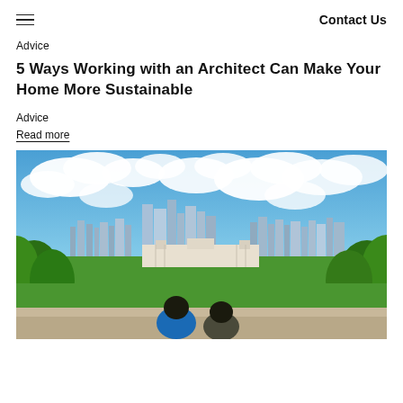Contact Us
Advice
5 Ways Working with an Architect Can Make Your Home More Sustainable
Advice
Read more
[Figure (photo): Aerial view of London skyline from Greenwich Park with two people in foreground looking toward the city. Blue sky with white clouds above. Green trees in foreground and the Old Royal Naval College visible in the middle distance.]